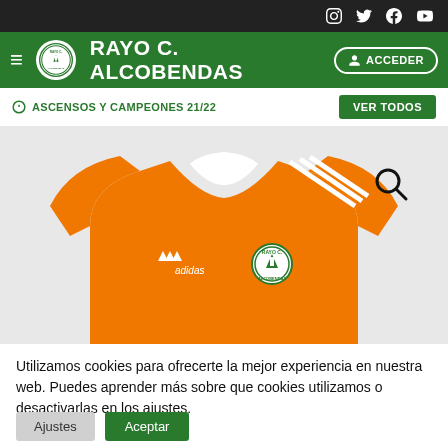Rayo C. Alcobendas website header with social media icons and navigation
[Figure (screenshot): Orange Adidas football jersey with Rayo C. Alcobendas club badge on the chest]
Utilizamos cookies para ofrecerte la mejor experiencia en nuestra web. Puedes aprender más sobre que cookies utilizamos o desactivarlas en los ajustes.
Ajustes   Aceptar